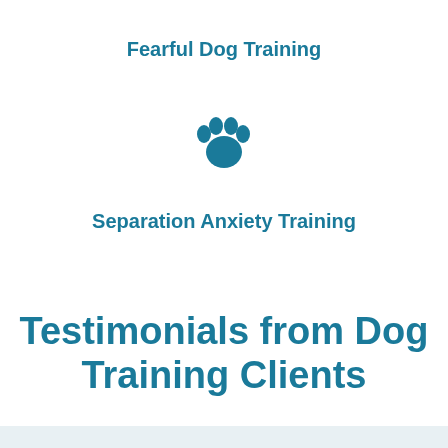Fearful Dog Training
[Figure (illustration): Teal/blue paw print icon]
Separation Anxiety Training
Testimonials from Dog Training Clients